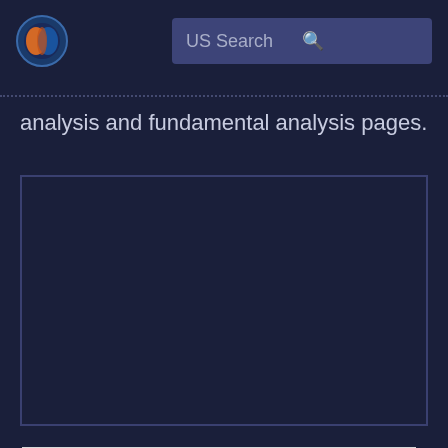[Figure (logo): Macroaxis logo - circular icon with orange and blue design]
US Search
analysis and fundamental analysis pages.
By using Macroaxis, you are agreeing to our revised Privacy Policy
OK